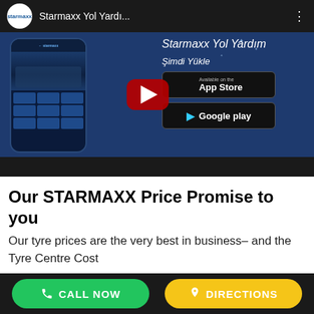[Figure (screenshot): YouTube video thumbnail for 'Starmaxx Yol Yardı...' showing a smartphone with the Starmaxx Yol Yardım app, a YouTube play button overlay, and app download buttons for App Store and Google Play on a dark blue background.]
Our STARMAXX Price Promise to you
Our tyre prices are the very best in business– and the Tyre Centre Cost
CALL NOW   DIRECTIONS